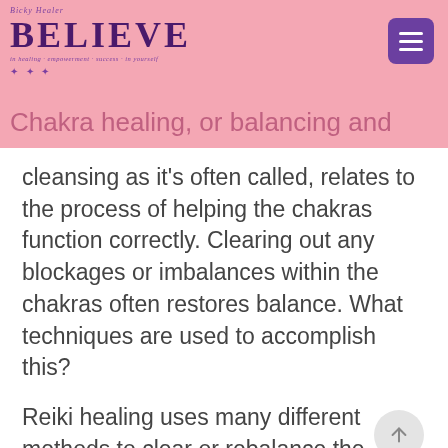BELIEVE
Chakra healing, or balancing and cleansing as it's often called, relates to the process of helping the chakras function correctly. Clearing out any blockages or imbalances within the chakras often restores balance. What techniques are used to accomplish this?
Reiki healing uses many different methods to clear or rebalance the chakras, including color healing, food and